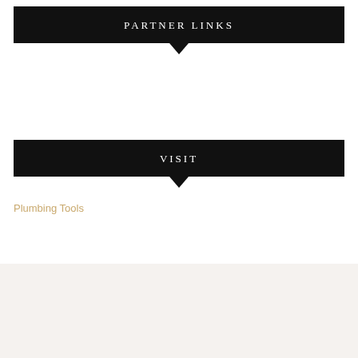PARTNER LINKS
VISIT
Plumbing Tools
© 2022 hcdprojects.org | Designed by: Theme Freesia | Powered by: WordPress